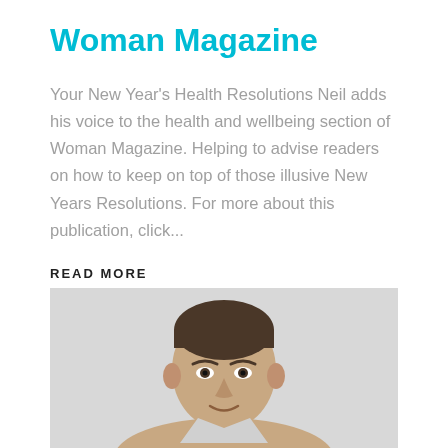Woman Magazine
Your New Year's Health Resolutions Neil adds his voice to the health and wellbeing section of Woman Magazine. Helping to advise readers on how to keep on top of those illusive New Years Resolutions. For more about this publication, click...
READ MORE
[Figure (photo): Head and shoulders photo of a man with short dark hair against a light grey background]